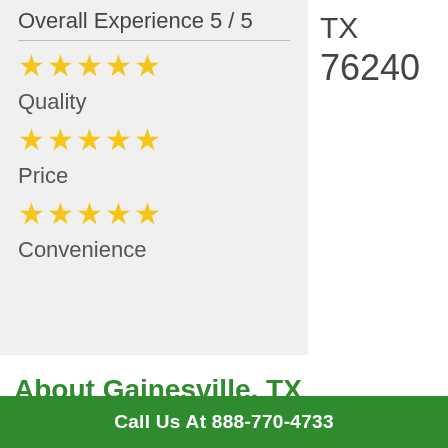Overall Experience 5 / 5
[Figure (other): 5 gold stars representing overall experience rating]
Quality
[Figure (other): 5 gold stars representing quality rating]
Price
[Figure (other): 5 gold stars representing price rating]
Convenience
TX
76240
About Gainesville, TX
Call Us At 888-770-4733